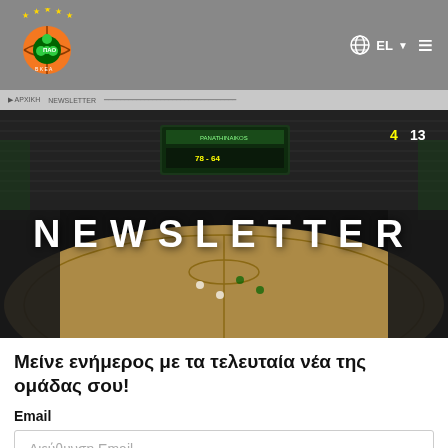[Figure (logo): Panathinaikos basketball club logo - orange basketball with green clover and stars]
EL ☰
[Figure (photo): Basketball arena aerial view with fans in stands and court lit up, dark atmosphere]
NEWSLETTER
Μείνε ενήμερος με τα τελευταία νέα της ομάδας σου!
Email
Διεύθυνση Email